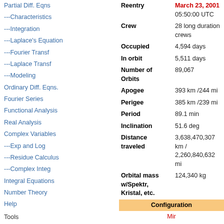Partial Diff. Eqns
---Characteristics
---Integration
---Laplace's Equation
---Fourier Transf
---Laplace Transf
---Modeling
Ordinary Diff. Eqns.
Fourier Series
Functional Analysis
Real Analysis
Complex Variables
---Exp and Log
---Residue Calculus
---Complex Integ
Integral Equations
Number Theory
Help
Tools
What links here
Related changes
Special pages
| Property | Value |
| --- | --- |
| Reentry | March 23, 2001 |
|  | 05:50:00 UTC |
| Crew | 28 long duration crews |
| Occupied | 4,594 days |
| In orbit | 5,511 days |
| Number of Orbits | 89,067 |
| Apogee | 393 km /244 mi |
| Perigee | 385 km /239 mi |
| Period | 89.1 min |
| Inclination | 51.6 deg |
| Distance traveled | 3,638,470,307 km / 2,260,840,632 mi |
| Orbital mass w/Spektr, Kristal, etc. | 124,340 kg |
| Configuration |  |
| Mir |  |
| Mir space station |  |